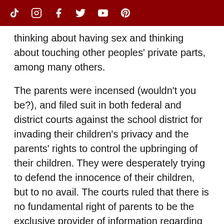Social media icons: TikTok, Instagram, Facebook, Twitter, YouTube, Pinterest
thinking about having sex and thinking about touching other peoples' private parts, among many others.
The parents were incensed (wouldn't you be?), and filed suit in both federal and district courts against the school district for invading their children's privacy and the parents' rights to control the upbringing of their children. They were desperately trying to defend the innocence of their children, but to no avail. The courts ruled that there is no fundamental right of parents to be the exclusive provider of information regarding sexuality or education of their children. Both the district